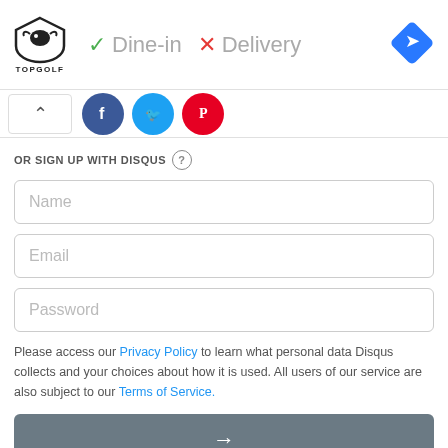[Figure (screenshot): TopGolf ad banner with logo, Dine-in checkmark, Delivery X mark, and blue diamond navigation icon]
[Figure (screenshot): Social sharing buttons: chevron up, Facebook, Twitter, Pinterest icons]
OR SIGN UP WITH DISQUS
Name
Email
Password
Please access our Privacy Policy to learn what personal data Disqus collects and your choices about how it is used. All users of our service are also subject to our Terms of Service.
[Figure (screenshot): Dark grey submit button with right arrow]
John Garasimowicz
3 months ago edited